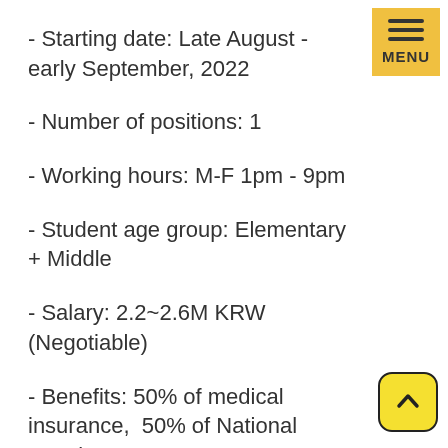- Starting date: Late August - early September, 2022
- Number of positions: 1
- Working hours: M-F 1pm - 9pm
- Student age group: Elementary + Middle
- Salary: 2.2~2.6M KRW (Negotiable)
- Benefits: 50% of medical insurance, 50% of National Pension, Severance payment, housing or housing allowance